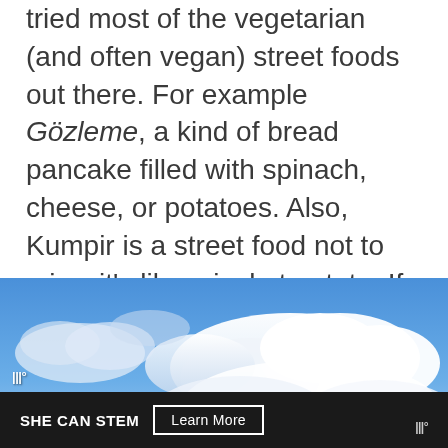tried most of the vegetarian (and often vegan) street foods out there. For example Gözleme, a kind of bread pancake filled with spinach, cheese, or potatoes. Also, Kumpir is a street food not to miss, it's like a jacket potato. If you want something sweet and not so healthy, try lokma balls!
[Figure (photo): Blue sky with white clouds photograph, with a weather channel watermark in the lower left. Below the sky photo is a dark advertisement bar reading 'SHE CAN STEM Learn More' with a weather channel logo on the right.]